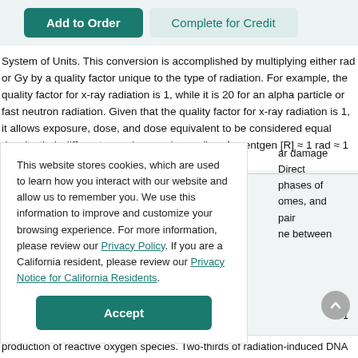[Figure (screenshot): UI buttons: 'Add to Order' (teal filled) and 'Complete for Credit' (teal outlined/light background)]
System of Units. This conversion is accomplished by multiplying either rad or Gy by a quality factor unique to the type of radiation. For example, the quality factor for x-ray radiation is 1, while it is 20 for an alpha particle or fast neutron radiation. Given that the quality factor for x-ray radiation is 1, it allows exposure, dose, and dose equivalent to be considered equal despite their different meanings and uses (i.e., 1 roentgen [R] ≈ 1 rad ≈ 1 rem) [9].
This website stores cookies, which are used to learn how you interact with our website and allow us to remember you. We use this information to improve and customize your browsing experience. For more information, please review our Privacy Policy. If you are a California resident, please review our Privacy Notice for California Residents.
ar damage Direct phases of omes, and pair ne between
production of reactive oxygen species. Two-thirds of radiation-induced DNA